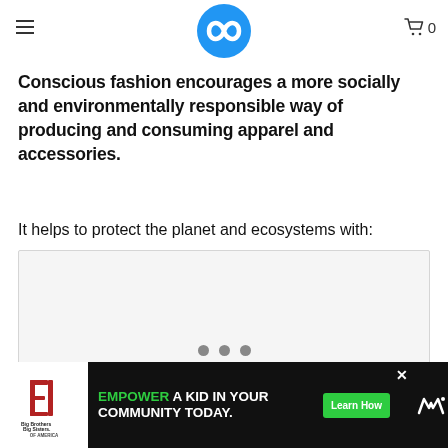Conscious fashion encourages a more socially and environmentally responsible way of producing and consuming apparel and accessories.
It helps to protect the planet and ecosystems with:
[Figure (other): Slideshow/carousel image placeholder area with navigation dots below]
[Figure (other): Advertisement banner at bottom: Big Brothers Big Sisters logo on left, 'EMPOWER A KID IN YOUR COMMUNITY TODAY.' text with Learn How button, close X button, and brand logo on right]